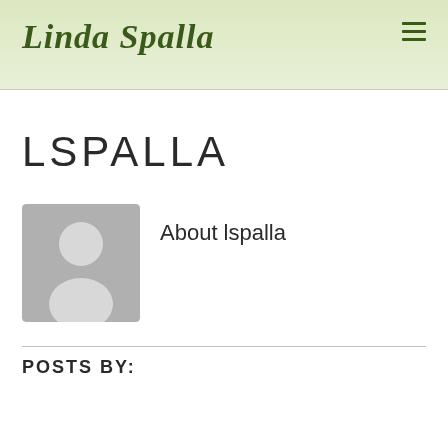Linda Spalla
LSPALLA
[Figure (illustration): Default user avatar placeholder image — grey silhouette of a person on a light grey background]
About lspalla
POSTS BY: